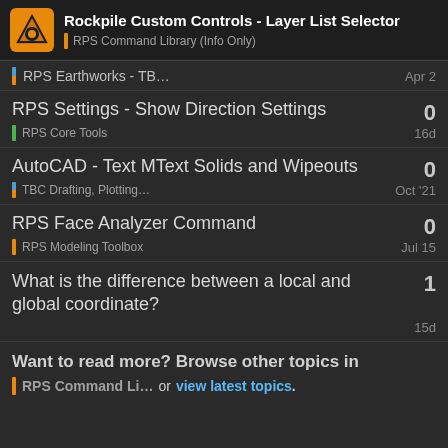Rockpile Custom Controls - Layer List Selector | RPS Command Library (Info Only)
RPS Earthworks - TB… | Apr 2
RPS Settings - Show Direction Settings | 0 replies | RPS Core Tools | 16d
AutoCAD - Text MText Solids and Wipeouts | 0 replies | TBC Drafting, Plotting… | Oct '21
RPS Face Analyzer Command | 0 replies | RPS Modeling Toolbox | Jul 15
What is the difference between a local and global coordinate? | 1 reply | 15d
Want to read more? Browse other topics in RPS Command Li… or view latest topics.